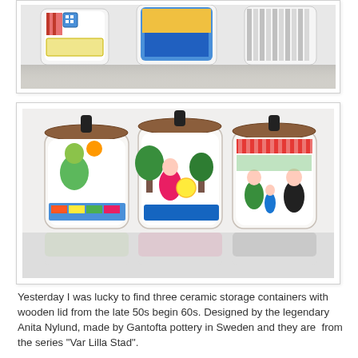[Figure (photo): Three colorful ceramic storage containers with wooden lids, partially visible, top portion cropped, on a reflective surface.]
[Figure (photo): Three colorful ceramic storage containers with wooden lids from the 'Var Lilla Stad' series, designed by Anita Nylund, made by Gantofta pottery in Sweden, late 50s/early 60s, on a reflective surface.]
Yesterday I was lucky to find three ceramic storage containers with wooden lid from the late 50s begin 60s. Designed by the legendary Anita Nylund, made by Gantofta pottery in Sweden and they are  from the series "Var Lilla Stad".
I love Hildas blog and I want to see Bridesmaids ( I wish I could go with my friend Shelly)